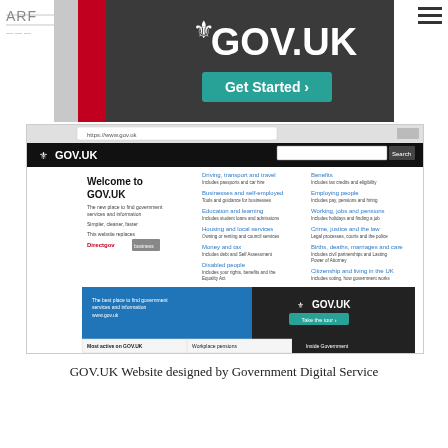[Figure (screenshot): GOV.UK website hero banner with large GOV.UK logo, crown symbol, dark background, red accent stripe, and a green 'Get Started' button]
[Figure (screenshot): GOV.UK homepage screenshot showing browser window with 'Welcome to GOV.UK' heading, navigation links for Driving/Business/Education/Housing/Disabled people/Benefits/Employing people/Working/Crime/Births/Citizenship, and a promo section with GOV.UK logo and 'Most active on GOV.UK', 'Workplace pensions', 'Inside Government' tabs]
GOV.UK Website designed by Government Digital Service